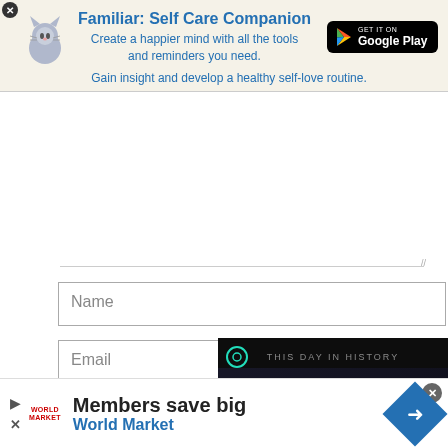[Figure (infographic): App advertisement banner for 'Familiar: Self Care Companion' with cat icon and Google Play button]
Familiar: Self Care Companion
Create a happier mind with all the tools and reminders you need.
Gain insight and develop a healthy self-love routine.
Name
Email
Website
Post Comment
[Figure (screenshot): Dark video overlay showing 'THIS DAY IN HISTORY' with blue play button graphic and AUGUST text, with mute icon]
[Figure (infographic): Bottom advertisement banner: Members save big - World Market, with navigation diamond arrow icon]